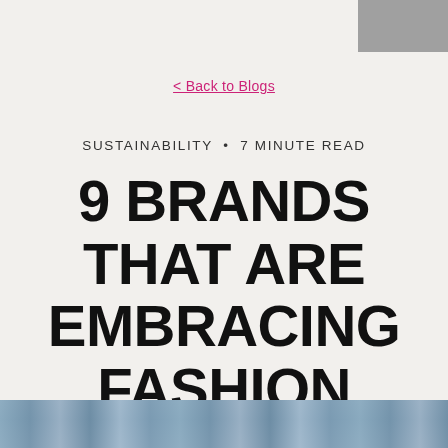< Back to Blogs
SUSTAINABILITY • 7 MINUTE READ
9 BRANDS THAT ARE EMBRACING FASHION UPCYCLING
[Figure (photo): Partial view of a denim/jeans image at the bottom of the page]